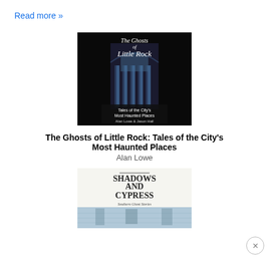Read more »
[Figure (photo): Book cover of 'The Ghosts of Little Rock: Tales of the City's Most Haunted Places' by Alan Lowe & Jason Hall. Black background with gothic architecture image and white stylized text.]
The Ghosts of Little Rock: Tales of the City's Most Haunted Places
Alan Lowe
[Figure (photo): Book cover of 'Shadows and Cypress: Southern Ghost Stories'. White/cream background with large serif title text, subtitle in smaller text, and a reflective water image at the bottom.]